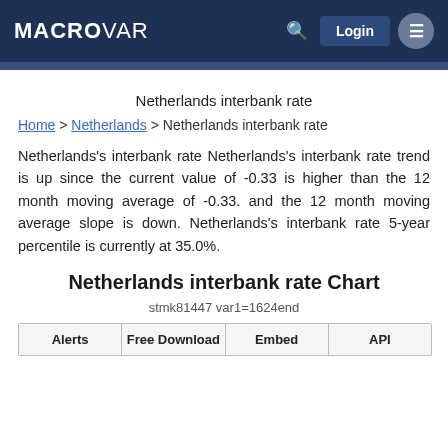MACROVAR
Netherlands interbank rate
Home > Netherlands > Netherlands interbank rate
Netherlands's interbank rate Netherlands's interbank rate trend is up since the current value of -0.33 is higher than the 12 month moving average of -0.33. and the 12 month moving average slope is down. Netherlands's interbank rate 5-year percentile is currently at 35.0%.
Netherlands interbank rate Chart
stmk81447 var1=1624end
Alerts | Free Download | Embed | API